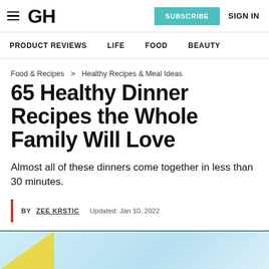GH | SUBSCRIBE | SIGN IN
PRODUCT REVIEWS | LIFE | FOOD | BEAUTY
Food & Recipes > Healthy Recipes & Meal Ideas
65 Healthy Dinner Recipes the Whole Family Will Love
Almost all of these dinners come together in less than 30 minutes.
BY ZEE KRSTIC  Updated: Jan 10, 2022
[Figure (photo): Light blue background image at the bottom of the page, partially visible, with a yellow triangular accent in the lower left corner.]